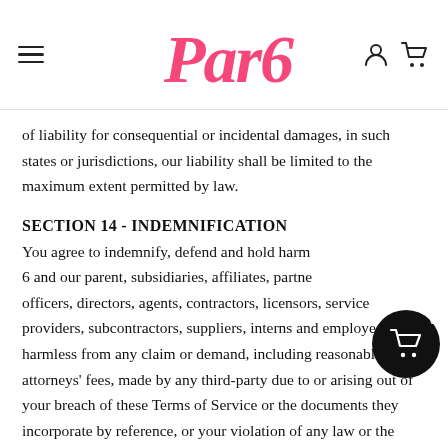Par6 — navigation bar with hamburger menu, logo, and account/cart icons
of liability for consequential or incidental damages, in such states or jurisdictions, our liability shall be limited to the maximum extent permitted by law.
SECTION 14 - INDEMNIFICATION
You agree to indemnify, defend and hold harmless Par 6 and our parent, subsidiaries, affiliates, partners, officers, directors, agents, contractors, licensors, service providers, subcontractors, suppliers, interns and employees, harmless from any claim or demand, including reasonable attorneys' fees, made by any third-party due to or arising out of your breach of these Terms of Service or the documents they incorporate by reference, or your violation of any law or the rights of a third-party.